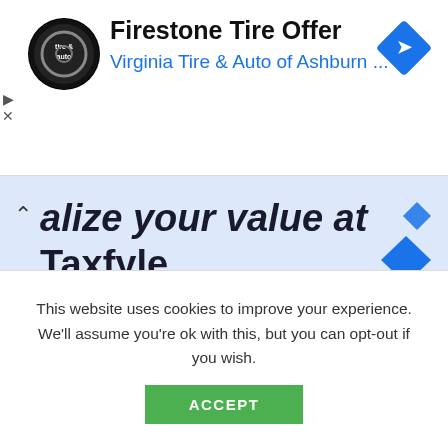[Figure (screenshot): Advertisement banner for Firestone Tire Offer from Virginia Tire & Auto of Ashburn with a circular logo, navigation icon, and play/close controls on the left side]
alize your value at Taxfyle
[Figure (illustration): Blue background illustration showing a cartoon woman with black hair sitting next to a large calculator with TAXES on the display, showing buttons x, ÷, %, C, 7, 8, 9, +]
This website uses cookies to improve your experience. We'll assume you're ok with this, but you can opt-out if you wish.
ACCEPT